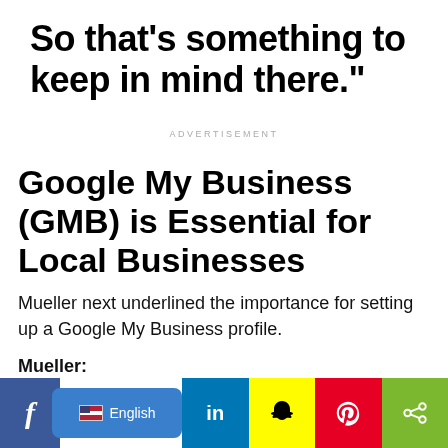So that’s something to keep in mind there.”
ADVERTISEMENT
Google My Business (GMB) is Essential for Local Businesses
Mueller next underlined the importance for setting up a Google My Business profile.
Mueller:
[Figure (screenshot): Social media sharing bar with Facebook, English language selector, LinkedIn, Snapchat, Pinterest, and share icons]